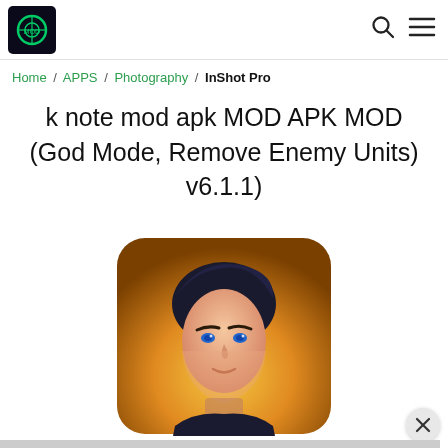Logo and navigation icons (search, menu)
Home / APPS / Photography / InShot Pro
k note mod apk MOD APK MOD (God Mode, Remove Enemy Units) v6.1.1)
[Figure (illustration): App icon showing an animated male character with dark hair and blue eyes against a warm golden background, with rounded square shape]